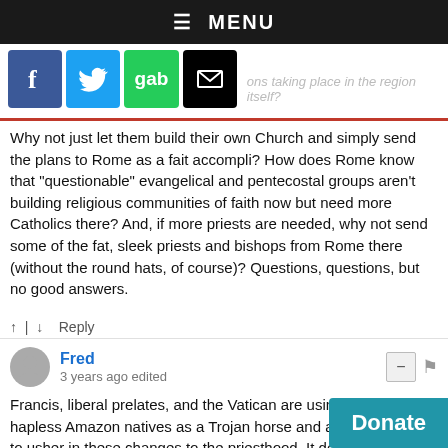≡ MENU
[Figure (screenshot): Social media sharing buttons: Facebook (blue), Twitter (light blue), Gab (green), Email (black envelope). Faded link text partially visible to the right.]
Why not just let them build their own Church and simply send the plans to Rome as a fait accompli? How does Rome know that "questionable" evangelical and pentecostal groups aren't building religious communities of faith now but need more Catholics there? And, if more priests are needed, why not send some of the fat, sleek priests and bishops from Rome there (without the round hats, of course)? Questions, questions, but no good answers.
↑ | ↓   Reply
Fred
3 years ago edited
Francis, liberal prelates, and the Vatican are using these hapless Amazon natives as a Trojan horse and as a precedent to usher in these changes to the priesthood. It does not matter to them a whit what Church doctrine says. They as liberals will bend and ignore any and all traditions, ons, rulings, and sacred doctrines which ge their own